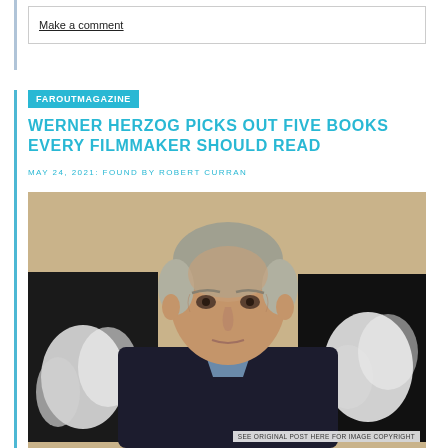Make a comment
FAROUTMAGAZINE
WERNER HERZOG PICKS OUT FIVE BOOKS EVERY FILMMAKER SHOULD READ
MAY 24, 2021: FOUND BY ROBERT CURRAN
[Figure (photo): Portrait photograph of Werner Herzog, an elderly man with grey hair wearing a dark jacket, seated in front of black and white framed photos on a wall. Overlay text reads: SEE ORIGINAL POST HERE FOR IMAGE COPYRIGHT]